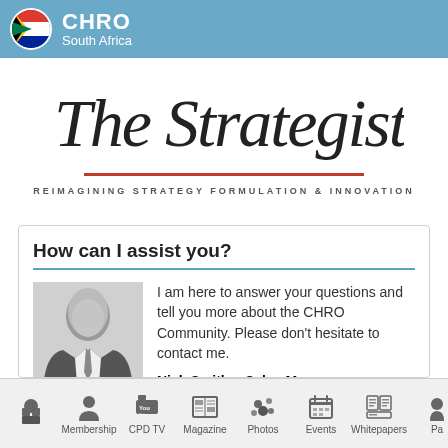CHRO South Africa
[Figure (logo): The Strategists cursive logo with red underline and tagline REIMAGINING STRATEGY FORMULATION & INNOVATION]
How can I assist you?
I am here to answer your questions and tell you more about the CHRO Community. Please don't hesitate to contact me.
Nick Smith – Sales Manager
Home | Membership | CPD TV | Magazine | Photos | Events | Whitepapers | Pa...